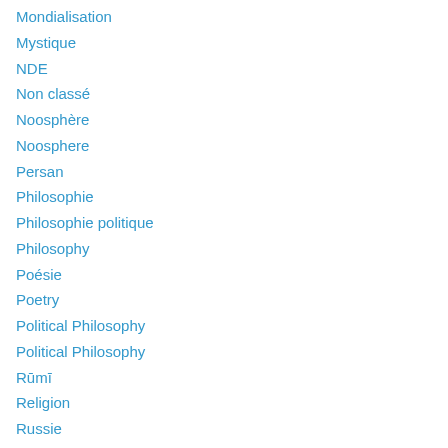Mondialisation
Mystique
NDE
Non classé
Noosphère
Noosphere
Persan
Philosophie
Philosophie politique
Philosophy
Poésie
Poetry
Political Philosophy
Political Philosophy
Rūmī
Religion
Russie
sanskrit
Secrets of the Gods
Théologie politique